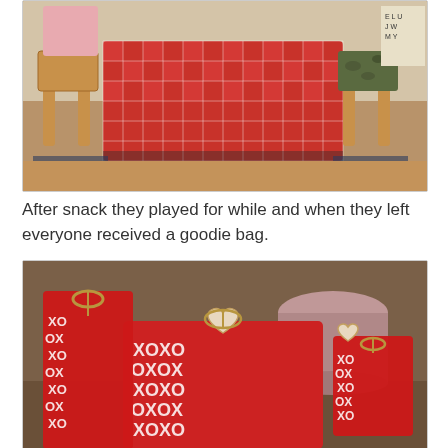[Figure (photo): Indoor photo showing wooden chairs around a table covered with a red and white checkered tablecloth. A child is partially visible behind the cloth. Another chair has a camouflage-patterned cushion cover. An alphabet or educational chart is visible on the wall in the background.]
After snack they played for while and when they left everyone received a goodie bag.
[Figure (photo): Close-up photo of several red gift bags and packages covered with white XOXO (hugs and kisses) print pattern, tied with twine bows and heart-shaped tags. A pink/mauve cylindrical container is visible in the background. The items are arranged together as Valentine's Day goodie bags.]